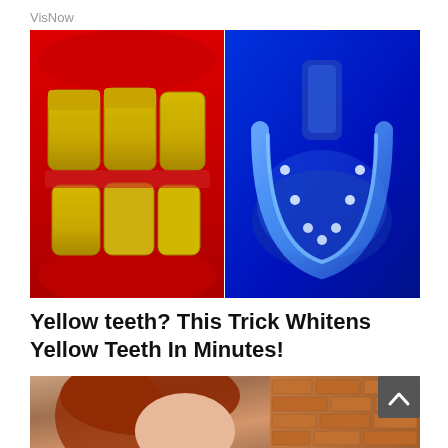VisNow
[Figure (photo): Split image: left side shows close-up of yellow teeth vs white teeth with red lips background; right side shows a blue LED teeth whitening tray device held in gloved hand with blue light]
Yellow teeth? This Trick Whitens Yellow Teeth In Minutes!
[Figure (photo): Partial image of a red-haired woman's face outdoors with brick wall background; dark gray scroll-up button overlay in top right corner]